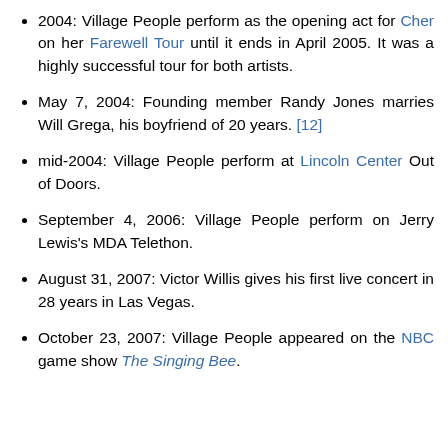2004: Village People perform as the opening act for Cher on her Farewell Tour until it ends in April 2005. It was a highly successful tour for both artists.
May 7, 2004: Founding member Randy Jones marries Will Grega, his boyfriend of 20 years. [12]
mid-2004: Village People perform at Lincoln Center Out of Doors.
September 4, 2006: Village People perform on Jerry Lewis's MDA Telethon.
August 31, 2007: Victor Willis gives his first live concert in 28 years in Las Vegas.
October 23, 2007: Village People appeared on the NBC game show The Singing Bee.